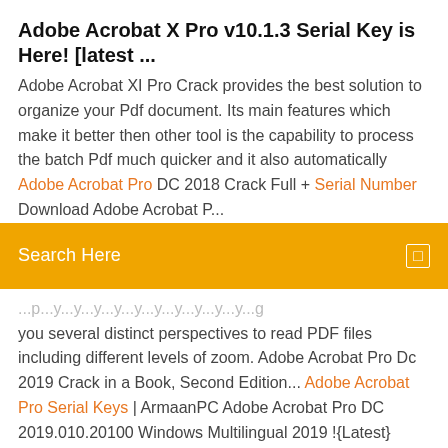Adobe Acrobat X Pro v10.1.3 Serial Key is Here! [latest ...
Adobe Acrobat XI Pro Crack provides the best solution to organize your Pdf document. Its main features which make it better then other tool is the capability to process the batch Pdf much quicker and it also automatically Adobe Acrobat Pro DC 2018 Crack Full + Serial Number Download Adobe Acrobat P...
[Figure (screenshot): Orange search bar with white text 'Search Here' on left and a small white bordered square icon on the right]
...you several distinct perspectives to read PDF files including different levels of zoom. Adobe Acrobat Pro Dc 2019 Crack in a Book, Second Edition... Adobe Acrobat Pro Serial Keys | ArmaanPC Adobe Acrobat Pro DC 2019.010.20100 Windows Multilingual 2019 !{Latest} Acrobat DC (former Adobe Acrobat XI Pro) is the completely reimagined desktop version of the worlds best serial number - Find Key of Installed and Activated instance Adobe... Adobe 7 - Download for Adobe Professional and Standard version 7 and Serial key available here - The serial